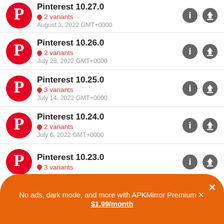Pinterest 10.27.0 · 2 variants · August 3, 2022 GMT+0000
Pinterest 10.26.0 · 2 variants · July 28, 2022 GMT+0000
Pinterest 10.25.0 · 3 variants · July 14, 2022 GMT+0000
Pinterest 10.24.0 · 2 variants · July 6, 2022 GMT+0000
Pinterest 10.23.0 · 3 variants
No ads, dark mode, and more with APKMirror Premium × $1.99/month